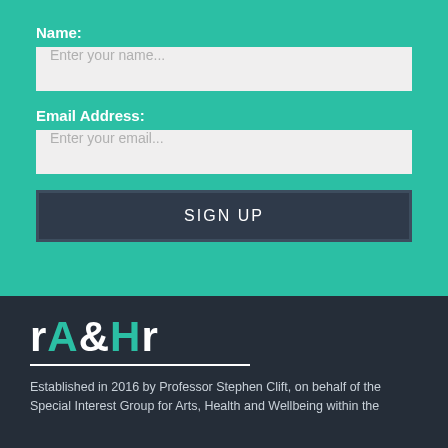Name:
[Figure (other): Text input field with placeholder 'Enter your name...']
Email Address:
[Figure (other): Text input field with placeholder 'Enter your email...']
[Figure (other): SIGN UP button]
[Figure (logo): rA&HR logo in white and teal with underline]
Established in 2016 by Professor Stephen Clift, on behalf of the Special Interest Group for Arts, Health and Wellbeing within the